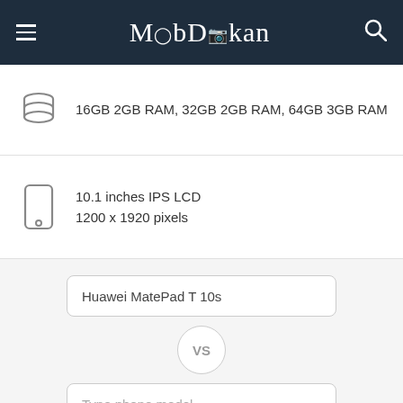MobDokan
16GB 2GB RAM, 32GB 2GB RAM, 64GB 3GB RAM
10.1 inches IPS LCD
1200 x 1920 pixels
Huawei MatePad T 10s
VS
Type phone model..
Compare
Huawei MatePad T 10s Full